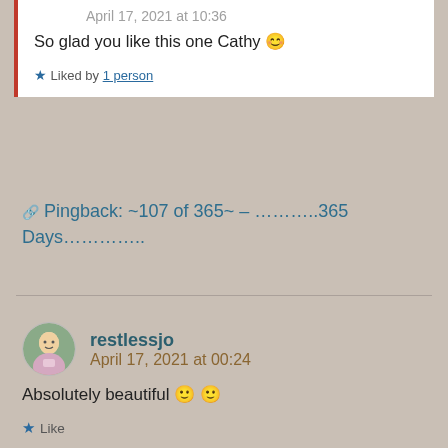April 17, 2021 at 10:36
So glad you like this one Cathy 😊
★ Liked by 1 person
🔗 Pingback: ~107 of 365~ – ………..365 Days………….
restlessjo
April 17, 2021 at 00:24
Absolutely beautiful 🙂 🙂
★ Like